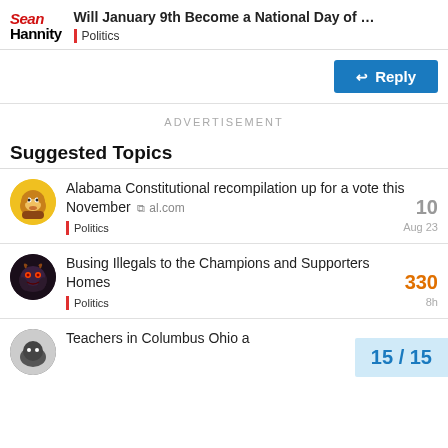Will January 9th Become a National Day of ... | Politics | Sean Hannity
Reply
ADVERTISEMENT
Suggested Topics
Alabama Constitutional recompilation up for a vote this November al.com | Politics | Aug 23 | 10
Busing Illegals to the Champions and Supporters Homes | Politics | 8h | 330
Teachers in Columbus Ohio a
15 / 15